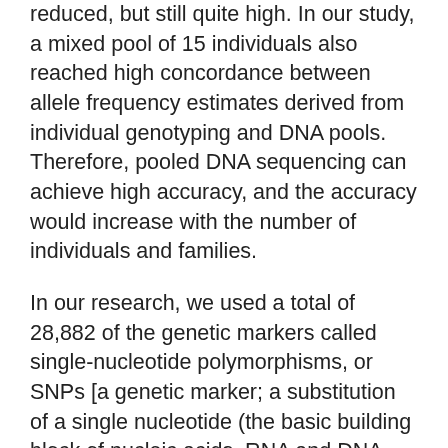reduced, but still quite high. In our study, a mixed pool of 15 individuals also reached high concordance between allele frequency estimates derived from individual genotyping and DNA pools. Therefore, pooled DNA sequencing can achieve high accuracy, and the accuracy would increase with the number of individuals and families.
In our research, we used a total of 28,882 of the genetic markers called single-nucleotide polymorphisms, or SNPs [a genetic marker; a substitution of a single nucleotide (the basic building block of nucleic acids, RNA and DNA, where genetic information is stored) at a specific position in the genome, that is present in a sufficiently large fraction of the population]. We found that using different numbers of SNPs (varying from 500 to 28,800) did not have a significant impact on the accuracy of our pooled-DNA sequences. No positive correlation was found between the SNP number and the accuracy of pooled-DNA sequences.